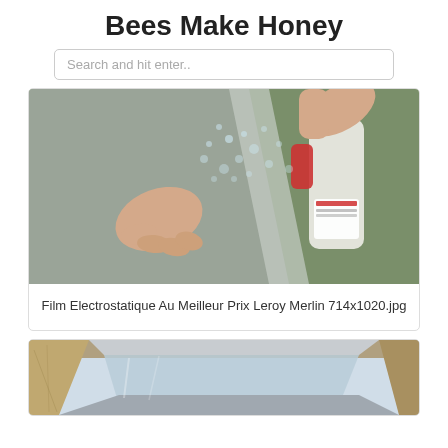Bees Make Honey
Search and hit enter..
[Figure (photo): Hands applying electrostatic film to a surface using a spray bottle with liquid]
Film Electrostatique Au Meilleur Prix Leroy Merlin 714x1020.jpg
[Figure (photo): Close-up of a skylight window frame with glass, viewed from below at an angle]